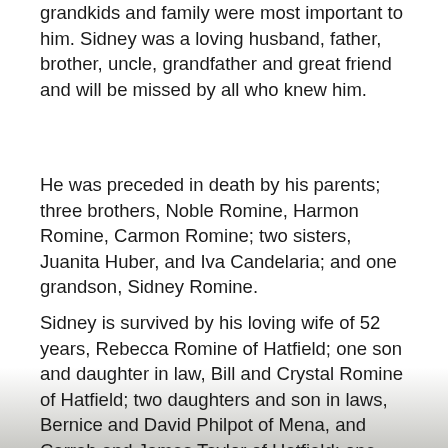grandkids and family were most important to him. Sidney was a loving husband, father, brother, uncle, grandfather and great friend and will be missed by all who knew him.
He was preceded in death by his parents; three brothers, Noble Romine, Harmon Romine, Carmon Romine; two sisters, Juanita Huber, and Iva Candelaria; and one grandson, Sidney Romine.
Sidney is survived by his loving wife of 52 years, Rebecca Romine of Hatfield; one son and daughter in law, Bill and Crystal Romine of Hatfield; two daughters and son in laws, Bernice and David Philpot of Mena, and Carrah and James Taylor of Hatfield; one sister, Geneva Yovanovich of Gallup, New Mexico; fifteen grandchildren, three great grandchildren, many nieces and nephews and a host of other family and friends.